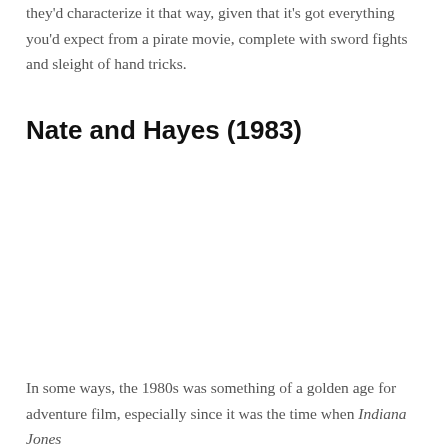they'd characterize it that way, given that it's got everything you'd expect from a pirate movie, complete with sword fights and sleight of hand tricks.
Nate and Hayes (1983)
[Figure (photo): Image placeholder area for Nate and Hayes (1983) film]
In some ways, the 1980s was something of a golden age for adventure film, especially since it was the time when Indiana Jones